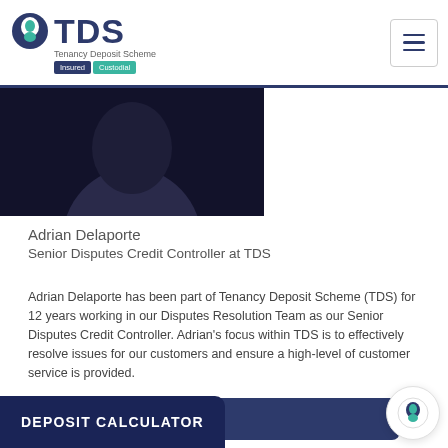TDS Tenancy Deposit Scheme Insured Custodial
[Figure (photo): Dark background photo showing partial head/silhouette of a person against near-black background]
Adrian Delaporte
Senior Disputes Credit Controller at TDS
Adrian Delaporte has been part of Tenancy Deposit Scheme (TDS) for 12 years working in our Disputes Resolution Team as our Senior Disputes Credit Controller. Adrian's focus within TDS is to effectively resolve issues for our customers and ensure a high-level of customer service is provided.
To protect your tenancy deposits now, click here.
About TDS
Tenancy Deposit Scheme (TDS) is the only not-for-profit, government-approved scheme for the protection of tenancy deposits and we offer impartial adjudication for any disputes that arise over deductions.